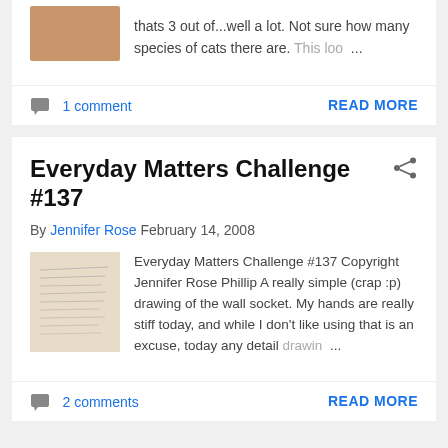thats 3 out of...well a lot. Not sure how many species of cats there are. This loo ...
1 comment
READ MORE
Everyday Matters Challenge #137
By Jennifer Rose February 14, 2008
[Figure (photo): A handwritten note or letter on paper]
Everyday Matters Challenge #137 Copyright Jennifer Rose Phillip A really simple (crap :p) drawing of the wall socket. My hands are really stiff today, and while I don't like using that is an excuse, today any detail drawin ...
2 comments
READ MORE